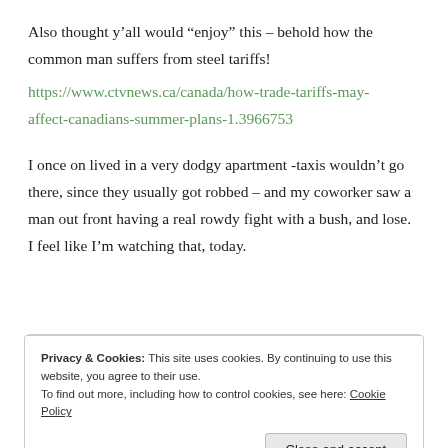Also thought y'all would “enjoy” this – behold how the common man suffers from steel tariffs!
https://www.ctvnews.ca/canada/how-trade-tariffs-may-affect-canadians-summer-plans-1.3966753
I once on lived in a very dodgy apartment -taxis wouldn’t go there, since they usually got robbed – and my coworker saw a man out front having a real rowdy fight with a bush, and lose. I feel like I’m watching that, today.
Privacy & Cookies: This site uses cookies. By continuing to use this website, you agree to their use.
To find out more, including how to control cookies, see here: Cookie Policy
Close and accept